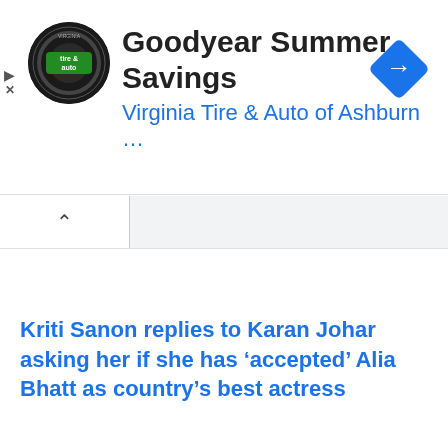[Figure (screenshot): Advertisement banner for Goodyear Summer Savings by Virginia Tire & Auto of Ashburn, showing circular tire & auto logo on left, ad title in large black text, subtitle in blue text, and a blue diamond navigation arrow icon on the right. Ad control icons (play and X) appear on the far left.]
Kriti Sanon replies to Karan Johar asking her if she has ‘accepted’ Alia Bhatt as country’s best actress